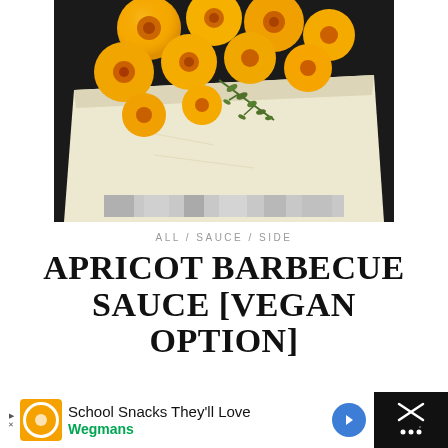[Figure (photo): Overhead view of halved apricots and puff pastry on a baking tray lined with parchment paper and aluminum foil, with a sprig of fresh thyme]
ALL / SAUCE / SIDE
APRICOT BARBECUE SAUCE [VEGAN OPTION]
SEPTEMBER 14, 2014
[Figure (other): Advertisement banner: School Snacks They'll Love - Wegmans, with navigation arrows and close button]